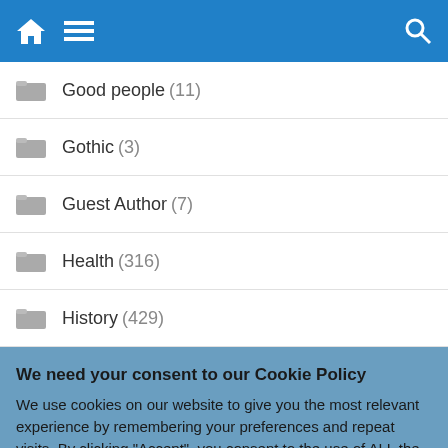Navigation bar with home, menu, and search icons
Good people (11)
Gothic (3)
Guest Author (7)
Health (316)
History (429)
We need your consent to our Cookie Policy
We use cookies on our website to give you the most relevant experience by remembering your preferences and repeat visits. By clicking "Accept", you consent to the use of ALL the cookies.
Do not sell my personal information.
Cookie Settings | Accept